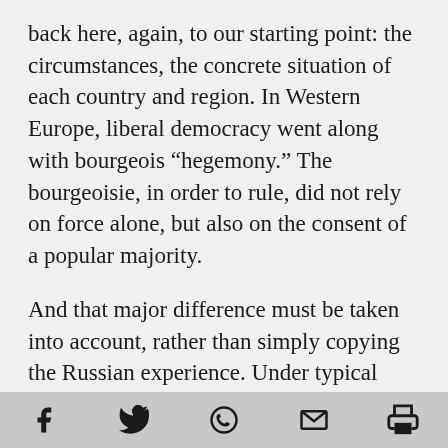back here, again, to our starting point: the circumstances, the concrete situation of each country and region. In Western Europe, liberal democracy went along with bourgeois “hegemony.” The bourgeoisie, in order to rule, did not rely on force alone, but also on the consent of a popular majority.
And that major difference must be taken into account, rather than simply copying the Russian experience. Under typical Western conditions, the workers’ party must strive to build a counter hegemony, that is, to win over the support of the majority in breaking away from bourgeois ideological domination. It must wage a war of
[social media share icons: Facebook, Twitter, WhatsApp, Email, Print]